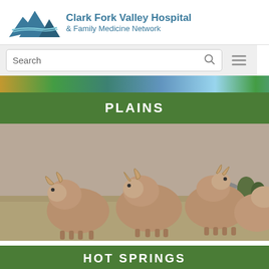[Figure (logo): Clark Fork Valley Hospital & Family Medicine Network logo with mountain and river graphic in teal/blue]
Clark Fork Valley Hospital & Family Medicine Network
[Figure (screenshot): Search bar with search icon and hamburger menu icon on grey background]
[Figure (photo): Colorful nature strip photo (partial, cropped top)]
PLAINS
[Figure (photo): Four bighorn sheep rams standing in a grassy field, photographed close up]
HOT SPRINGS